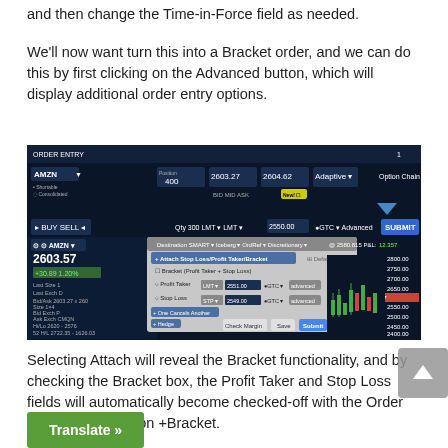and then change the Time-in-Force field as needed.
We'll now want turn this into a Bracket order, and we can do this by first clicking on the Advanced button, which will display additional order entry options.
[Figure (screenshot): Interactive Brokers Order Entry panel showing AMZN order with Bracket/Profit Taker/Stop Loss options expanded, with a candlestick chart on the right side. Shows Profit Taker at LMT 2551.00 GTC and Stop Loss at STP 2549.00 GTC.]
Selecting Attach will reveal the Bracket functionality, and by checking the Bracket box, the Profit Taker and Stop Loss fields will automatically become checked-off with the Order Entry showing the add-on +Bracket.